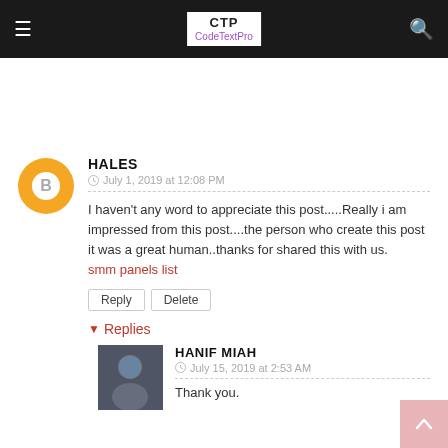CTP CodeTextPro
[Figure (illustration): Orange circular Blogger default avatar icon with white pencil/B symbol, belonging to commenter HALES]
HALES
July 1, 2019 at 12:08 PM
I haven't any word to appreciate this post.....Really i am impressed from this post....the person who create this post it was a great human..thanks for shared this with us. smm panels list
Reply  Delete
Replies
[Figure (photo): Profile photo of Hanif Miah, a person with dark hair]
HANIF MIAH
July 15, 2019 at 2:53 AM
Thank you.